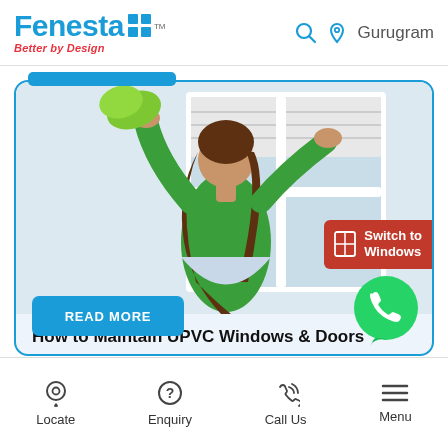[Figure (logo): Fenesta logo with blue text, grid icon, and red tagline 'Better by Design']
Gurugram
[Figure (photo): Woman in green top cleaning a white UPVC window with a green cloth, viewed from behind]
Switch to Windows
How to Maintain UPVC Windows & Doors
READ MORE
[Figure (logo): WhatsApp green bubble icon]
Locate
Enquiry
Call Us
Menu